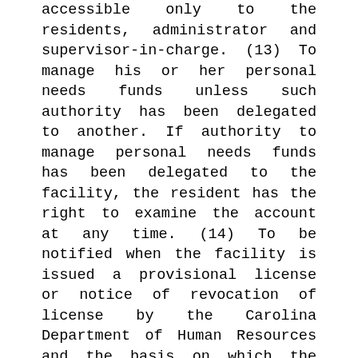accessible only to the residents, administrator and supervisor-in-charge. (13) To manage his or her personal needs funds unless such authority has been delegated to another. If authority to manage personal needs funds has been delegated to the facility, the resident has the right to examine the account at any time. (14) To be notified when the facility is issued a provisional license or notice of revocation of license by the Carolina Department of Human Resources and the basis on which the provisional license or notice of revocation of license was issued. The resident's responsible family member or guardian shall also be notified. (15) To have freedom to participate by choice in accessible community activities and in social, political, medical, and religious resources and to have freedom to refuse such participation. (16) To receive upon admission